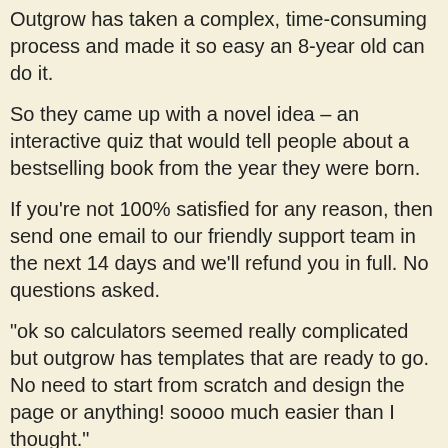Outgrow has taken a complex, time-consuming process and made it so easy an 8-year old can do it.
So they came up with a novel idea – an interactive quiz that would tell people about a bestselling book from the year they were born.
If you're not 100% satisfied for any reason, then send one email to our friendly support team in the next 14 days and we'll refund you in full. No questions asked.
"ok so calculators seemed really complicated but outgrow has templates that are ready to go. No need to start from scratch and design the page or anything! soooo much easier than I thought."
If you've ever wished you could access the same elite-level tools that multi-million dollar companies use every day to produce an ongoing supply of fresh targeted leads...
This offer will not be here for long. In a few days, Outgrow will return to subscription pricing. And then, you'll have to pay month after month after month for something you could have right now for a single investment...